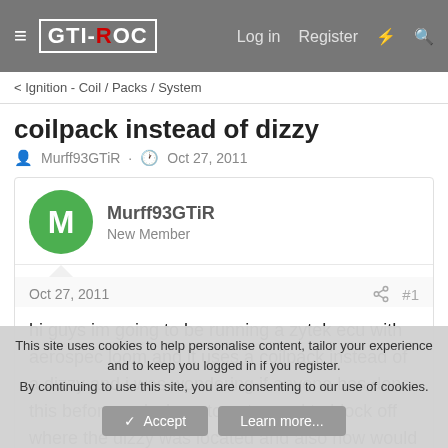GTI-ROC | Log in | Register
< Ignition - Coil / Packs / System
coilpack instead of dizzy
Murff93GTiR · Oct 27, 2011
Murff93GTiR
New Member
Oct 27, 2011
hi guys im going to be running a zytek ecu with aerospec loom and it uses a coilpack instead of a dizzy and i was wondering if anyone has done this before and where to get a seal to block off where the dizzy was located and also how would you set the
This site uses cookies to help personalise content, tailor your experience and to keep you logged in if you register.
By continuing to use this site, you are consenting to our use of cookies.